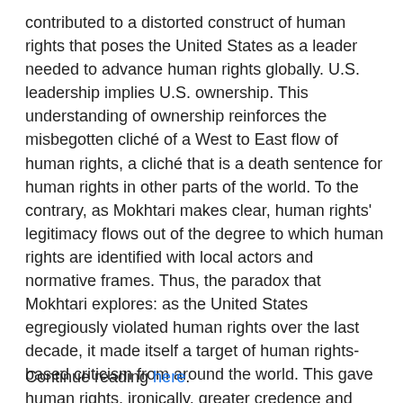contributed to a distorted construct of human rights that poses the United States as a leader needed to advance human rights globally. U.S. leadership implies U.S. ownership. This understanding of ownership reinforces the misbegotten cliché of a West to East flow of human rights, a cliché that is a death sentence for human rights in other parts of the world. To the contrary, as Mokhtari makes clear, human rights' legitimacy flows out of the degree to which human rights are identified with local actors and normative frames. Thus, the paradox that Mokhtari explores: as the United States egregiously violated human rights over the last decade, it made itself a target of human rights-based criticism from around the world. This gave human rights, ironically, greater credence and legitimacy in many parts of the world, opening space for advancing a rights-based normative frame--especially in the Middle East.
Continue reading here.